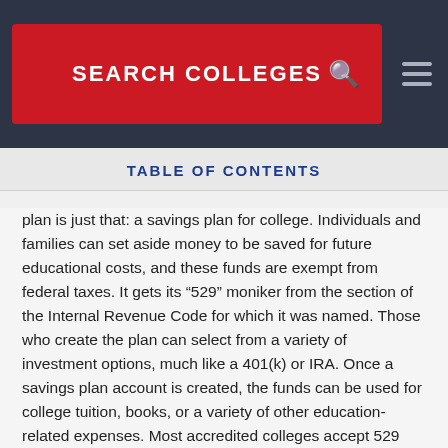SEARCH COLLEGES
TABLE OF CONTENTS
plan is just that: a savings plan for college. Individuals and families can set aside money to be saved for future educational costs, and these funds are exempt from federal taxes. It gets its “529” moniker from the section of the Internal Revenue Code for which it was named. Those who create the plan can select from a variety of investment options, much like a 401(k) or IRA. Once a savings plan account is created, the funds can be used for college tuition, books, or a variety of other education-related expenses. Most accredited colleges accept 529 plans.
North Carolina’s savings plan is called the National College Savings Program. It’s usually dubbed “NC 529 Plan” for